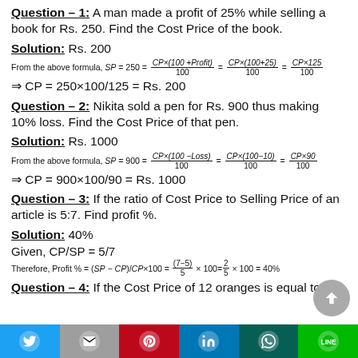Question – 1: A man made a profit of 25% while selling a book for Rs. 250. Find the Cost Price of the book.
Solution: Rs. 200
Question – 2: Nikita sold a pen for Rs. 900 thus making 10% loss. Find the Cost Price of that pen.
Solution: Rs. 1000
Question – 3: If the ratio of Cost Price to Selling Price of an article is 5:7. Find profit %.
Solution: 40%
Given, CP/SP = 5/7
Question – 4: If the Cost Price of 12 oranges is equal to the